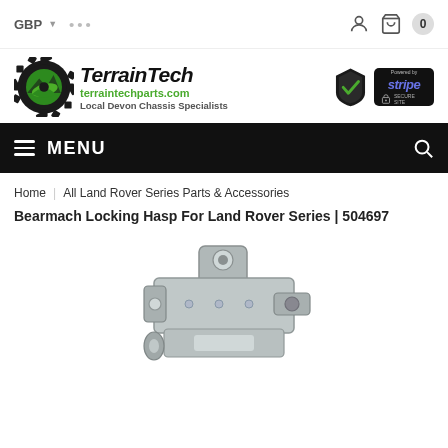GBP ... (navigation bar with basket icon, count: 0)
[Figure (logo): TerrainTech logo with gear icon, terraintechparts.com, Local Devon Chassis Specialists, with SSL and Stripe trust badges]
MENU
Home | All Land Rover Series Parts & Accessories
Bearmach Locking Hasp For Land Rover Series | 504697
[Figure (photo): Product photo of a Bearmach locking hasp, silver metal component for Land Rover Series]